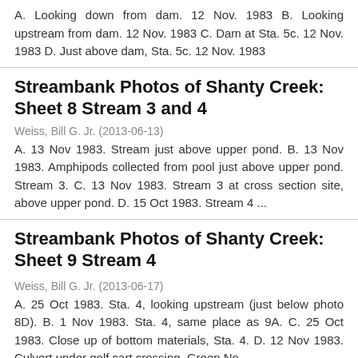A. Looking down from dam. 12 Nov. 1983 B. Looking upstream from dam. 12 Nov. 1983 C. Dam at Sta. 5c. 12 Nov. 1983 D. Just above dam, Sta. 5c. 12 Nov. 1983
Streambank Photos of Shanty Creek: Sheet 8 Stream 3 and 4
Weiss, Bill G. Jr. (2013-06-13)
A. 13 Nov 1983. Stream just above upper pond. B. 13 Nov 1983. Amphipods collected from pool just above upper pond. Stream 3. C. 13 Nov 1983. Stream 3 at cross section site, above upper pond. D. 15 Oct 1983. Stream 4 ...
Streambank Photos of Shanty Creek: Sheet 9 Stream 4
Weiss, Bill G. Jr. (2013-06-17)
A. 25 Oct 1983. Sta. 4, looking upstream (just below photo 8D). B. 1 Nov 1983. Sta. 4, same place as 9A. C. 25 Oct 1983. Close up of bottom materials, Sta. 4. D. 12 Nov 1983. Culvert under golf cart crossing, Green No.
Summary Report of Projects Conducted on Chain O'Lakes-Antrim, Charlevoix, Kalkaska and Grand Traverse Counties-July, 1970 - October, 1971